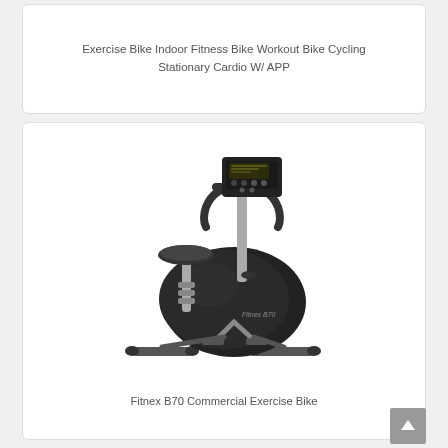Exercise Bike Indoor Fitness Bike Workout Bike Cycling Stationary Cardio W/ APP
[Figure (photo): Fitnex B70 Commercial Exercise Bike - black upright stationary bicycle with chrome accents, digital display console, and adjustable seat]
Fitnex B70 Commercial Exercise Bike